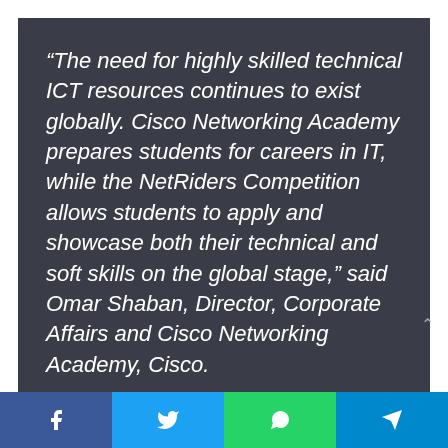“The need for highly skilled technical ICT resources continues to exist globally. Cisco Networking Academy prepares students for careers in IT, while the NetRiders Competition allows students to apply and showcase both their technical and soft skills on the global stage,” said Omar Shaban, Director, Corporate Affairs and Cisco Networking Academy, Cisco.
The majority of winners have either completed their Cisco CCNA® certification or plan to complete it within the next 3